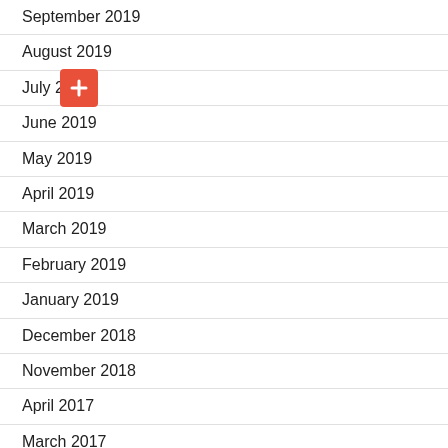September 2019
August 2019
July 2019
June 2019
May 2019
April 2019
March 2019
February 2019
January 2019
December 2018
November 2018
April 2017
March 2017
September 2016